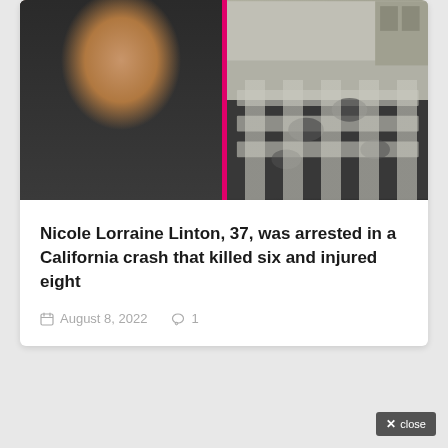[Figure (photo): Left half: portrait photo of a woman (Nicole Lorraine Linton) with dark hair wearing a dark blazer over a light shirt. Right half: aerial/street view photo of a crosswalk/pavement with footprint-shaped markings. A pink/magenta vertical divider separates the two images.]
Nicole Lorraine Linton, 37, was arrested in a California crash that killed six and injured eight
August 8, 2022   1